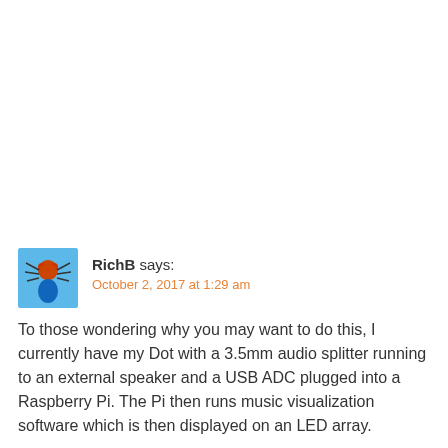RichB says:
October 2, 2017 at 1:29 am
To those wondering why you may want to do this, I currently have my Dot with a 3.5mm audio splitter running to an external speaker and a USB ADC plugged into a Raspberry Pi. The Pi then runs music visualization software which is then displayed on an LED array.